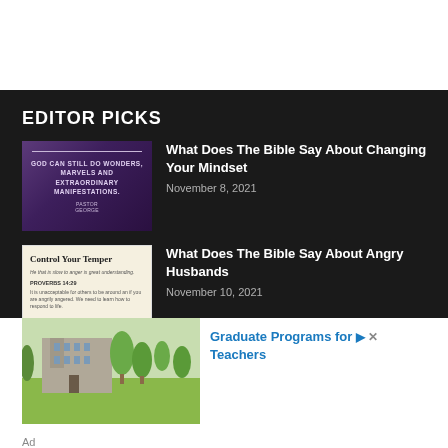EDITOR PICKS
[Figure (illustration): Purple background image with text: GOD CAN STILL DO WONDERS, MARVELS AND EXTRAORDINARY MANIFESTATIONS. Pastor George.]
What Does The Bible Say About Changing Your Mindset
November 8, 2021
[Figure (illustration): Light beige background with text: Control Your Temper. He that is slow to anger is great understanding. PROVERBS 14:29. It is unacceptable for others to be around an if you are angrily angered. We need to learn how to respond to life.]
What Does The Bible Say About Angry Husbands
November 10, 2021
[Figure (photo): Photo of a campus building with trees and green lawn.]
Graduate Programs for Teachers
Ad